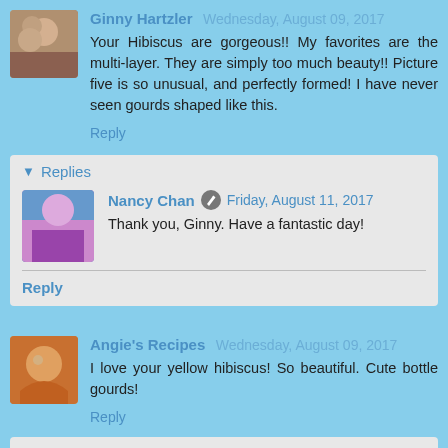Ginny Hartzler  Wednesday, August 09, 2017
Your Hibiscus are gorgeous!! My favorites are the multi-layer. They are simply too much beauty!! Picture five is so unusual, and perfectly formed! I have never seen gourds shaped like this.
Reply
Replies
Nancy Chan  Friday, August 11, 2017
Thank you, Ginny. Have a fantastic day!
Reply
Angie's Recipes  Wednesday, August 09, 2017
I love your yellow hibiscus! So beautiful. Cute bottle gourds!
Reply
Replies